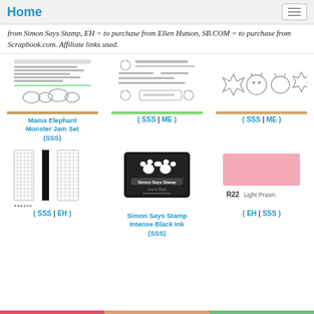Home
from Simon Says Stamp, EH = to purchase from Ellen Hutson, SB.COM = to purchase from Scrapbook.com. Affiliate links used.
[Figure (illustration): Mama Elephant Monster Jam stamp set showing various monster text stamps and cloud shapes]
Mama Elephant Monster Jam Set (SSS)
[Figure (illustration): Stamp set with cat/monster characters and sentiment text stamps]
( SSS | ME )
[Figure (illustration): Die cut monster/cat character shapes]
( SSS | ME )
[Figure (illustration): Border strip dies/stamps - cross-hatch and grid pattern strips]
( SSS | EH )
[Figure (illustration): Simon Says Stamp Intense Black Ink pad with paw print design]
Simon Says Stamp Intense Black Ink (SSS)
[Figure (illustration): Copic marker R22 Light Prawn color swatch]
( EH | SSS )